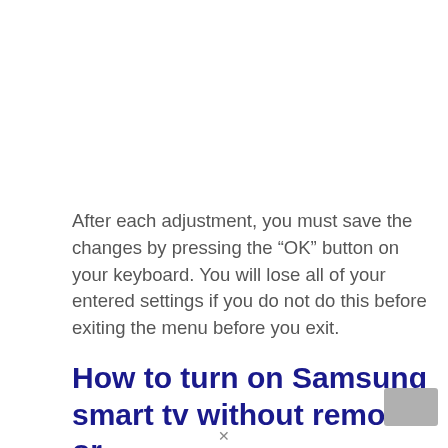After each adjustment, you must save the changes by pressing the “OK” button on your keyboard. You will lose all of your entered settings if you do not do this before exiting the menu before you exit.
How to turn on Samsung smart tv without remote or